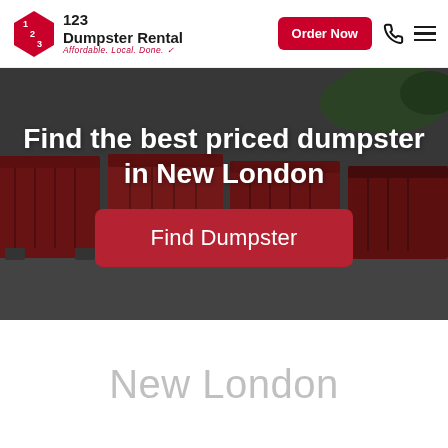[Figure (logo): 123 Dumpster Rental logo with diamond shape icon and tagline: Affordable. Local. Done.]
Find the best priced dumpster in New London
[Figure (photo): Background photo of red dumpsters lined up in a parking area]
Find Dumpster
New London